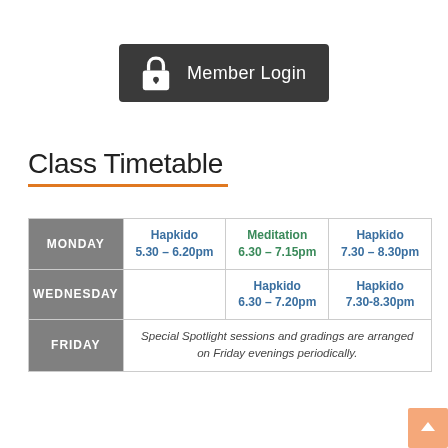[Figure (logo): Member Login button with lock icon, dark grey background]
Class Timetable
|  | Column 1 | Column 2 | Column 3 |
| --- | --- | --- | --- |
| Monday | Hapkido
5.30 – 6.20pm | Meditation
6.30 – 7.15pm | Hapkido
7.30 – 8.30pm |
| Wednesday |  | Hapkido
6.30 – 7.20pm | Hapkido
7.30-8.30pm |
| Friday | Special Spotlight sessions and gradings are arranged on Friday evenings periodically. |  |  |